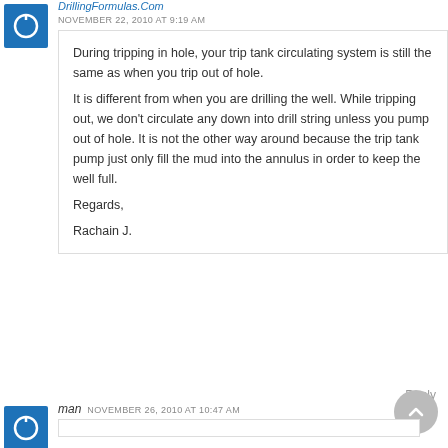DrillingFormulas.Com
NOVEMBER 22, 2010 AT 9:19 AM
During tripping in hole, your trip tank circulating system is still the same as when you trip out of hole.
It is different from when you are drilling the well. While tripping out, we don't circulate any down into drill string unless you pump out of hole. It is not the other way around because the trip tank pump just only fill the mud into the annulus in order to keep the well full.
Regards,
Rachain J.
Reply
man
NOVEMBER 26, 2010 AT 10:47 AM